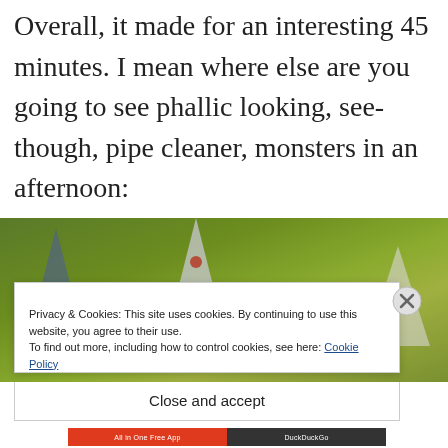Overall, it made for an interesting 45 minutes. I mean where else are you going to see phallic looking, see-though, pipe cleaner, monsters in an afternoon:
[Figure (photo): Photo of pipe cleaner monster figures on a green textured background, showing triangular/conical shapes in gray-blue, white, and light gray colors]
Privacy & Cookies: This site uses cookies. By continuing to use this website, you agree to their use. To find out more, including how to control cookies, see here: Cookie Policy
Close and accept